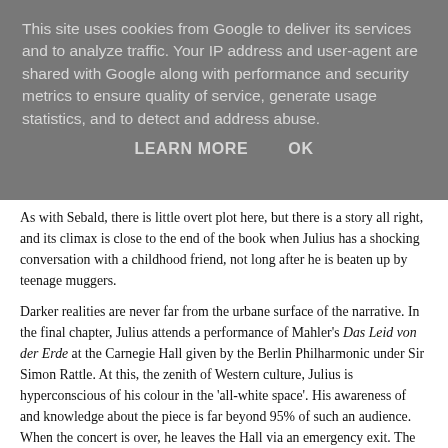This site uses cookies from Google to deliver its services and to analyze traffic. Your IP address and user-agent are shared with Google along with performance and security metrics to ensure quality of service, generate usage statistics, and to detect and address abuse.
LEARN MORE    OK
As with Sebald, there is little overt plot here, but there is a story all right, and its climax is close to the end of the book when Julius has a shocking conversation with a childhood friend, not long after he is beaten up by teenage muggers.
Darker realities are never far from the urbane surface of the narrative. In the final chapter, Julius attends a performance of Mahler's Das Leid von der Erde at the Carnegie Hall given by the Berlin Philharmonic under Sir Simon Rattle. At this, the zenith of Western culture, Julius is hyperconscious of his colour in the 'all-white space'. His awareness of and knowledge about the piece is far beyond 95% of such an audience. When the concert is over, he leaves the Hall via an emergency exit. The door slams shut and he is marooned on a flimsy fire escape in 'a situation of unimprovable comedy' - except that suddenly, and only just in time, he realises he is in mortal danger, and might have plunged into nothingness. This is just one in a series of brilliant scenes, some of them mere flashes, or 'small